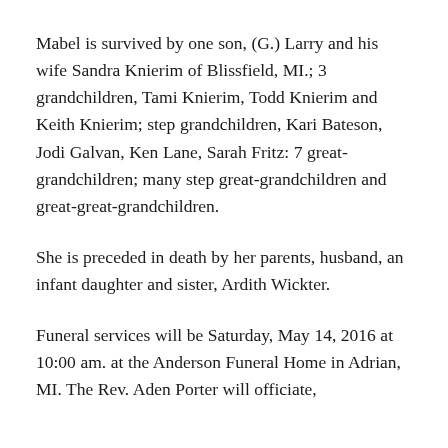Mabel is survived by one son, (G.) Larry and his wife Sandra Knierim of Blissfield, MI.; 3 grandchildren, Tami Knierim, Todd Knierim and Keith Knierim; step grandchildren, Kari Bateson, Jodi Galvan, Ken Lane, Sarah Fritz: 7 great-grandchildren; many step great-grandchildren and great-great-grandchildren.
She is preceded in death by her parents, husband, an infant daughter and sister, Ardith Wickter.
Funeral services will be Saturday, May 14, 2016 at 10:00 am. at the Anderson Funeral Home in Adrian, MI. The Rev. Aden Porter will officiate,